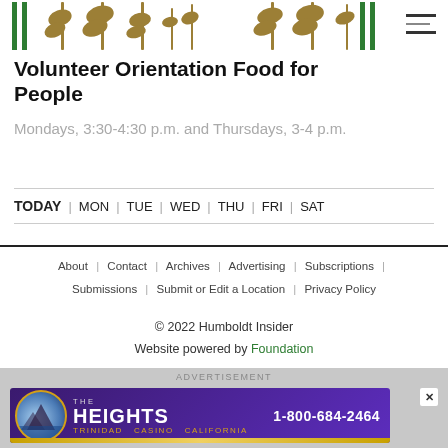[Figure (logo): Food for People organization logo with wheat stalks and green vertical bars]
Volunteer Orientation Food for People
Mondays, 3:30-4:30 p.m. and Thursdays, 3-4 p.m.
TODAY | MON | TUE | WED | THU | FRI | SAT
About | Contact | Archives | Advertising | Subscriptions | Submissions | Submit or Edit a Location | Privacy Policy
© 2022 Humboldt Insider
Website powered by Foundation
[Figure (infographic): Advertisement banner for The Heights Casino Trinidad California, phone number 1-800-684-2464]